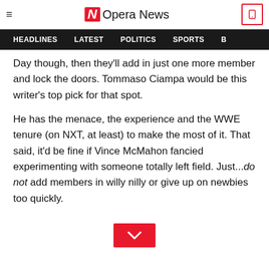Opera News
HEADLINES   LATEST   POLITICS   SPORTS
Day though, then they'll add in just one more member and lock the doors. Tommaso Ciampa would be this writer's top pick for that spot.
He has the menace, the experience and the WWE tenure (on NXT, at least) to make the most of it. That said, it'd be fine if Vince McMahon fancied experimenting with someone totally left field. Just...do not add members in willy nilly or give up on newbies too quickly.